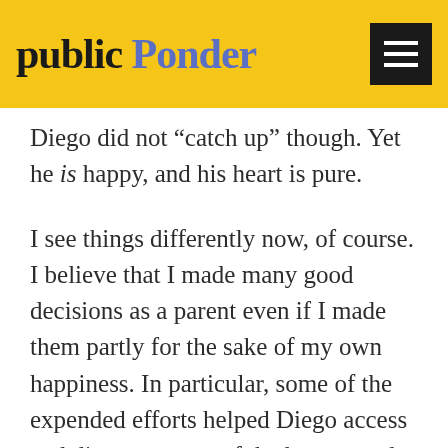Public Ponder
Diego did not “catch up” though. Yet he is happy, and his heart is pure.
I see things differently now, of course. I believe that I made many good decisions as a parent even if I made them partly for the sake of my own happiness. In particular, some of the expended efforts helped Diego access and discover more of the human and natural worlds that fascinate him. However, I am glad to have gained a little bit of wisdom because living with fear, guilt and a relentless pursuit of “normal” as a requirement